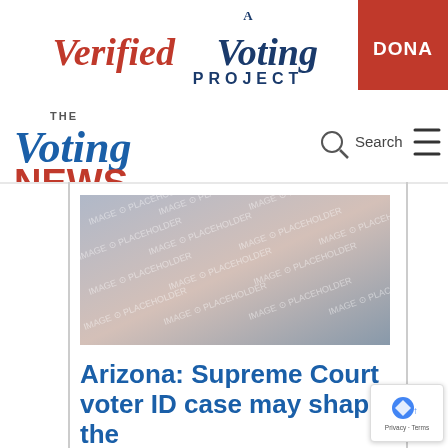[Figure (logo): A Verified Voting Project logo in red and dark blue with DONATE button on right]
[Figure (logo): The Voting News logo in blue and red with Search and hamburger menu]
[Figure (photo): Image placeholder with blurred background photo (watermarked)]
Arizona: Supreme Court voter ID case may shape the